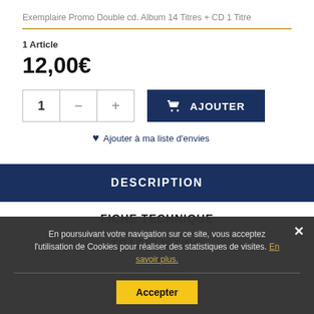Exemplaire Promo Double cd. Album 14 Titres + CD 1 Titre
1 Article
12,00€
[Figure (other): Quantity selector with minus and plus buttons showing value 1, and an Add to Cart button labeled AJOUTER]
Ajouter à ma liste d'envies
DESCRIPTION
FICHE TECHNIQUE
TRACKLISTING
En poursuivant votre navigation sur ce site, vous acceptez l'utilisation de Cookies pour réaliser des statistiques de visites. En savoir plus.
Accepter
Notes